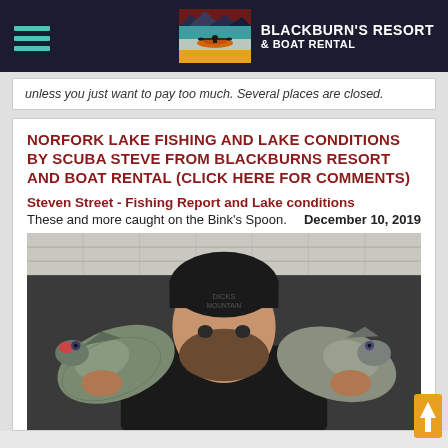BLACKBURN'S RESORT & BOAT RENTAL
unless you just want to pay too much. Several places are closed.
NORFORK LAKE FISHING AND LAKE CONDITIONS BY SCUBA STEVE FROM BLACKBURNS RESORT AND BOAT RENTAL (CLICK HERE FOR COMMENTS)
Steven Street - Fishing Report and Lake conditions
These and more caught on the Bink's Spoon.        December 10, 2019
[Figure (photo): Man in black beanie hat holding two large crappie fish, standing under a covered dock area.]